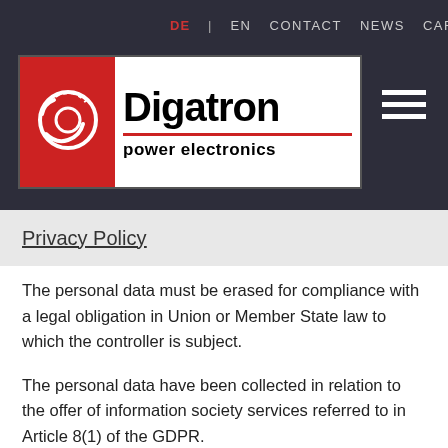DE | EN  CONTACT  NEWS  CAREER
[Figure (logo): Digatron power electronics logo — red background with white gear/connector icon on left, white panel with 'Digatron' in bold black and 'power electronics' below a red divider line]
Privacy Policy
The personal data must be erased for compliance with a legal obligation in Union or Member State law to which the controller is subject.
The personal data have been collected in relation to the offer of information society services referred to in Article 8(1) of the GDPR.